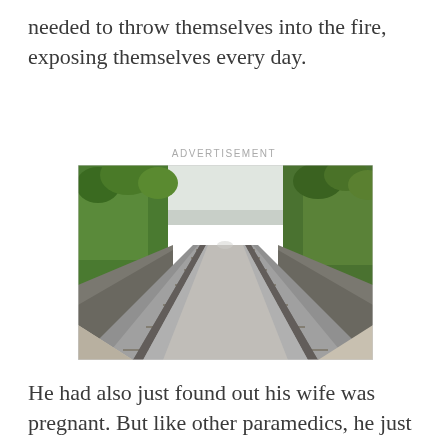needed to throw themselves into the fire, exposing themselves every day.
ADVERTISEMENT
[Figure (photo): A perspective view of straight railway tracks vanishing into the distance, flanked by green trees and shrubs on both sides, with a gray sky above. The photo is taken from a low angle as if from a train, with motion blur on the sides.]
He had also just found out his wife was pregnant. But like other paramedics, he just